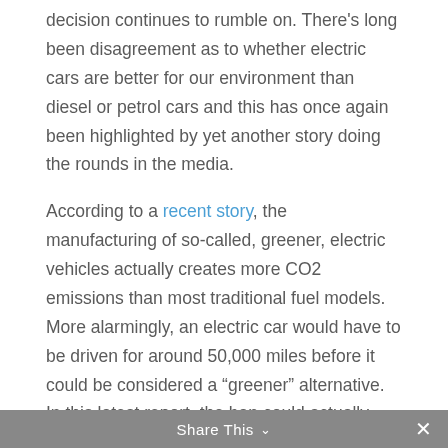decision continues to rumble on. There's long been disagreement as to whether electric cars are better for our environment than diesel or petrol cars and this has once again been highlighted by yet another story doing the rounds in the media.
According to a recent story, the manufacturing of so-called, greener, electric vehicles actually creates more CO2 emissions than most traditional fuel models. More alarmingly, an electric car would have to be driven for around 50,000 miles before it could be considered a “greener” alternative. In this latest report, the ban could actually see emissions RISE, rather than fall and it calls into question the government’s plans to press ahead with the blanket ban.
Share This